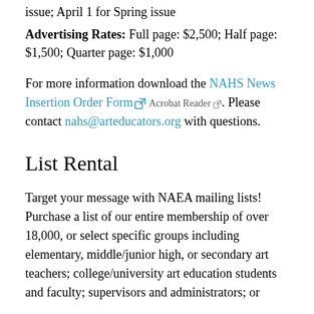issue; April 1 for Spring issue
Advertising Rates: Full page: $2,500; Half page: $1,500; Quarter page: $1,000
For more information download the NAHS News Insertion Order Form [icon] Acrobat Reader [icon]. Please contact nahs@arteducators.org with questions.
List Rental
Target your message with NAEA mailing lists! Purchase a list of our entire membership of over 18,000, or select specific groups including elementary, middle/junior high, or secondary art teachers; college/university art education students and faculty; supervisors and administrators; or